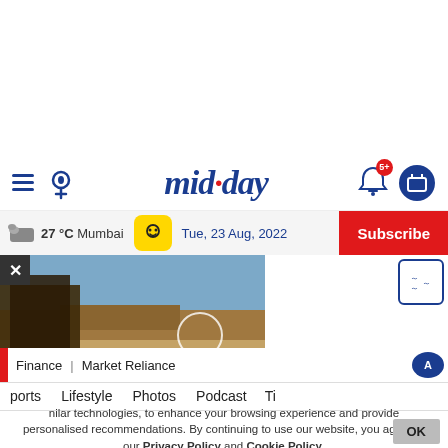mid-day
27 °C Mumbai  Tue, 23 Aug, 2022
Subscribe
[Figure (screenshot): Article thumbnail image showing a desert/rocky landscape scene with close-up of feathery or plant-like material in foreground]
ports  Lifestyle  Photos  Podcast  Ti...
nilar technologies, to enhance your browsing experience and provide personalised recommendations. By continuing to use our website, you agree to our Privacy Policy and Cookie Policy.